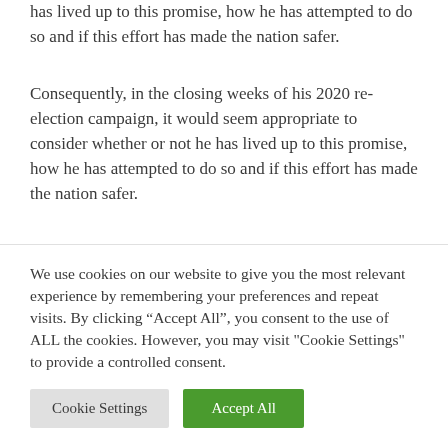has lived up to this promise, how he has attempted to do so and if this effort has made the nation safer.
Consequently, in the closing weeks of his 2020 re-election campaign, it would seem appropriate to consider whether or not he has lived up to this promise, how he has attempted to do so and if this effort has made the nation safer.
The size and deployment of American forces is a key element of the nation's military strategy, and many of his
We use cookies on our website to give you the most relevant experience by remembering your preferences and repeat visits. By clicking "Accept All", you consent to the use of ALL the cookies. However, you may visit "Cookie Settings" to provide a controlled consent.